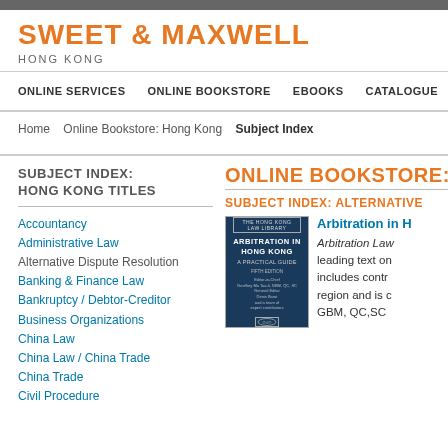SWEET & MAXWELL HONG KONG
ONLINE SERVICES | ONLINE BOOKSTORE | EBOOKS | CATALOGUE | ABOUT
Home > Online Bookstore: Hong Kong > Subject Index
SUBJECT INDEX: HONG KONG TITLES
Accountancy
Administrative Law
Alternative Dispute Resolution
Banking & Finance Law
Bankruptcy / Debtor-Creditor
Business Organizations
China Law
China Law / China Trade
China Trade
Civil Procedure
ONLINE BOOKSTORE: H
SUBJECT INDEX: ALTERNATIVE
Arbitration in H
Arbitration Law leading text on includes contr region and is GBM, QC,SC